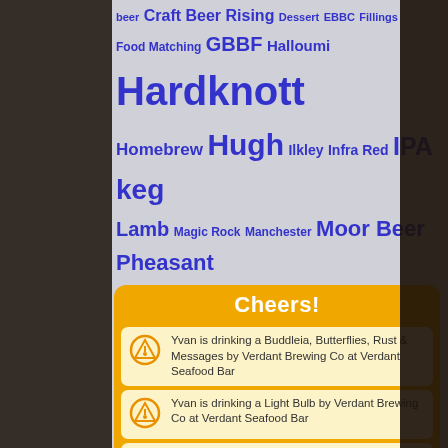beer Craft Beer Rising Dessert EBBC Fillings Food Matching GBBF Halloumi Hardknott Homebrew Hugh Ilkley Infra Red IPA keg Lamb Magic Rock Manchester Moor Beer Pheasant pressure Real Ale Rhetoric River Cottage Roast Stew Summer Wine VAT Venison Western Australia Williams Brothers Y-Brew
Cheers!
Yvan is drinking a Buddleia, Butterflies, Rust & Messages by Verdant Brewing Co at Verdant Seafood Bar
Yvan is drinking a Light Bulb by Verdant Brewing Co at Verdant Seafood Bar
Yvan is drinking an Abstrakt AB:03 by BrewDog at Willy House
Yvan is drinking an Abstrakt AB:02 by BrewDog at